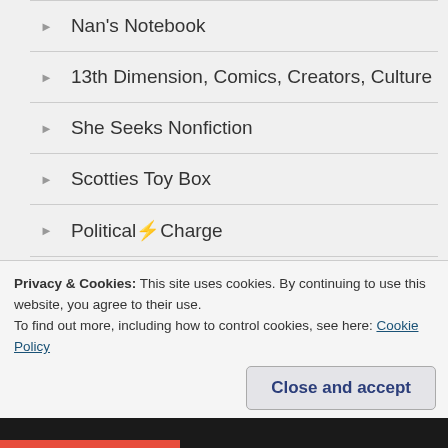Nan's Notebook
13th Dimension, Comics, Creators, Culture
She Seeks Nonfiction
Scotties Toy Box
Political⚡Charge
The Whitechapel Whelk
musingsofanoldfart
John Branyan
Privacy & Cookies: This site uses cookies. By continuing to use this website, you agree to their use. To find out more, including how to control cookies, see here: Cookie Policy
Close and accept